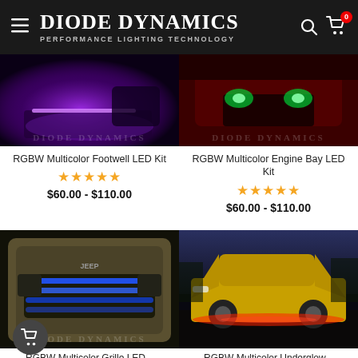Diode Dynamics — Performance Lighting Technology
[Figure (photo): Car footwell with purple RGBW LED lighting]
RGBW Multicolor Footwell LED Kit
★★★★★
$60.00 - $110.00
[Figure (photo): Red car engine bay with green RGBW LED lighting]
RGBW Multicolor Engine Bay LED Kit
★★★★★
$60.00 - $110.00
[Figure (photo): Jeep grille with blue RGBW LED lighting]
RGBW Multicolor Grille LED...
[Figure (photo): Yellow Ford Mustang with red underglow RGBW LED lighting]
RGBW Multicolor Underglow...